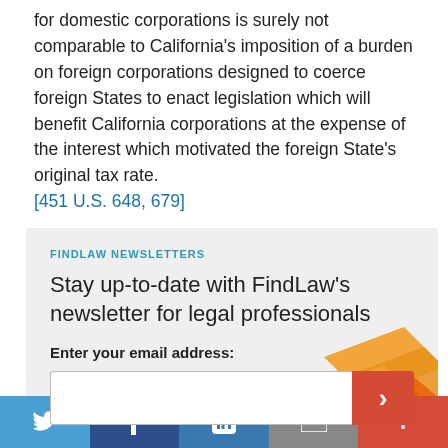for domestic corporations is surely not comparable to California's imposition of a burden on foreign corporations designed to coerce foreign States to enact legislation which will benefit California corporations at the expense of the interest which motivated the foreign State's original tax rate. [451 U.S. 648, 679]
FINDLAW NEWSLETTERS
Stay up-to-date with FindLaw's newsletter for legal professionals
Enter your email address:
[Figure (illustration): Decorative orange angular envelope/chevron shapes]